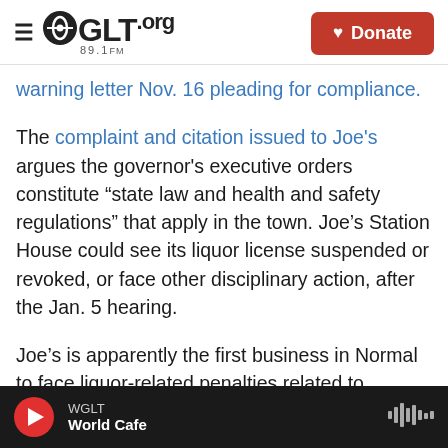WGLT.org 89.1FM | Donate
warning letter Nov. 16 pleading for compliance.
The complaint and citation issued to Joe's argues the governor's executive orders constitute “state law and health and safety regulations” that apply in the town. Joe’s Station House could see its liquor license suspended or revoked, or face other disciplinary action, after the Jan. 5 hearing.
Joe’s is apparently the first business in Normal to face liquor-related penalties related to COVID. The City of Bloomington has collected nearly $5,000 in fines from at least nine businesses.
WGLT | World Cafe